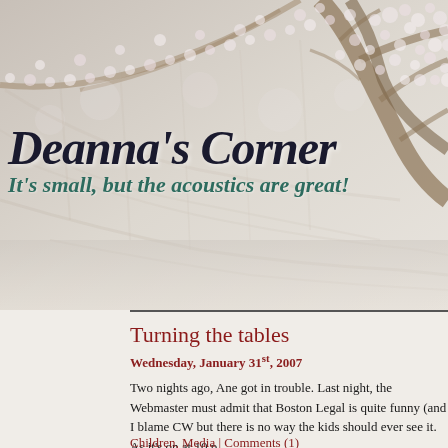[Figure (illustration): Cherry blossom tree branches against a pale background, serving as the blog header image]
Deanna's Corner
It's small, but the acoustics are great!
Turning the tables
Wednesday, January 31st, 2007
Two nights ago, Ane got in trouble. Last night, the Webmaster must admit that Boston Legal is quite funny (and I blame CW but there is no way the kids should ever see it. As it's on at 10 p
Children, Media | Comments (1)
Ane Speaks… and gets busted